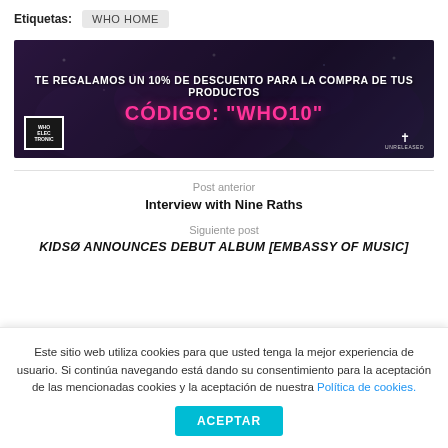Etiquetas: WHO HOME
[Figure (infographic): Dark background ad banner with crowd image. Text: 'TE REGALAMOS UN 10% DE DESCUENTO PARA LA COMPRA DE TUS PRODUCTOS' and 'CÓDIGO: "WHO10"' in pink. WHO logo bottom left, Unreleased logo bottom right.]
Post anterior
Interview with Nine Raths
Siguiente post
KIDSØ ANNOUNCES DEBUT ALBUM [EMBASSY OF MUSIC]
Este sitio web utiliza cookies para que usted tenga la mejor experiencia de usuario. Si continúa navegando está dando su consentimiento para la aceptación de las mencionadas cookies y la aceptación de nuestra Política de cookies.